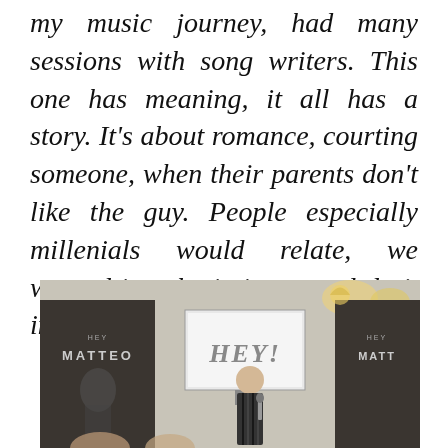my music journey, had many sessions with song writers. This one has meaning, it all has a story. It's about romance, courting someone, when their parents don't like the guy. People especially millenials would relate, we wanted it to be intimate and do it in Kia Theater."
[Figure (photo): Photo of a young man speaking into a microphone at an event, with 'HEY MATTEO' posters in the background and a screen displaying 'HEY!' text]